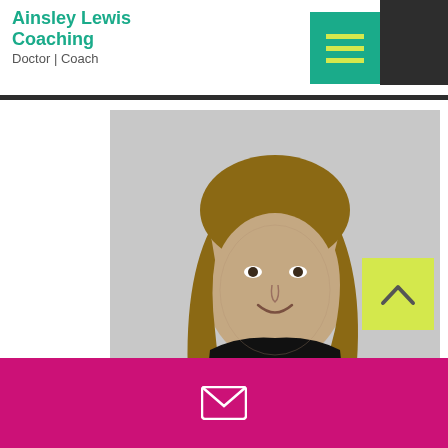Ainsley Lewis Coaching
Doctor | Coach
[Figure (logo): Teal rectangle hamburger menu button with yellow lines on dark background top-right area]
[Figure (photo): Black and white professional portrait of a woman with long hair wearing a black t-shirt, standing with hand on hip, smiling, against a light grey background]
[Figure (other): Yellow square scroll-to-top button with upward chevron arrow]
[Figure (other): Pink/magenta footer bar with white envelope email icon]